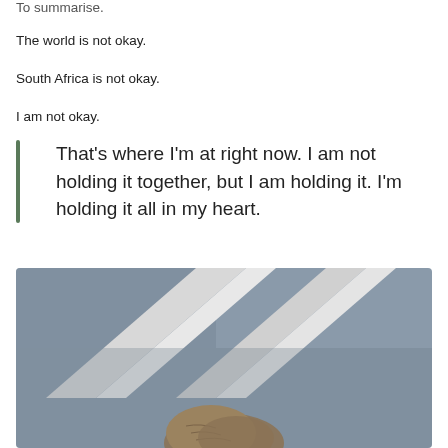To summarise.
The world is not okay.
South Africa is not okay.
I am not okay.
That’s where I’m at right now. I am not holding it together, but I am holding it. I’m holding it all in my heart.
[Figure (photo): A close-up photo of what appears to be a cat or small animal looking up toward diagonal white trim/molding on a grey-blue wall, viewed from above.]